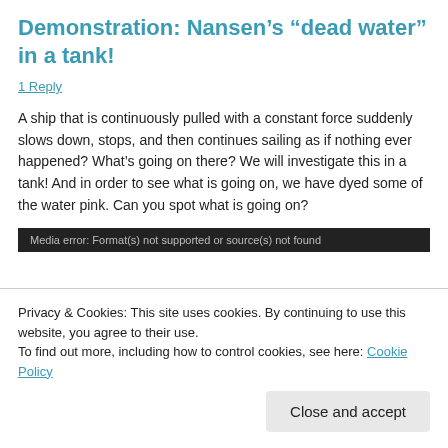Demonstration: Nansen’s “dead water” in a tank!
1 Reply
A ship that is continuously pulled with a constant force suddenly slows down, stops, and then continues sailing as if nothing ever happened? What’s going on there? We will investigate this in a tank! And in order to see what is going on, we have dyed some of the water pink. Can you spot what is going on?
[Figure (screenshot): Media error: Format(s) not supported or source(s) not found — black video player bar]
Privacy & Cookies: This site uses cookies. By continuing to use this website, you agree to their use.
To find out more, including how to control cookies, see here: Cookie Policy
Close and accept